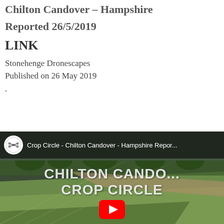Chilton Candover – Hampshire
Reported 26/5/2019
LINK
Stonehenge Dronescapes
Published on 26 May 2019
.
[Figure (screenshot): YouTube video thumbnail for 'Crop Circle - Chilton Candover - Hampshire Repor...' by Stonehenge Dronescapes, showing an aerial view of green fields with overlaid text 'CHILTON CANDO... CROP CIRCLE' and a YouTube play button.]